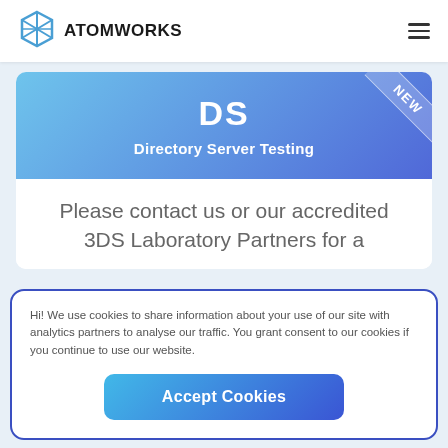[Figure (logo): AtomWorks logo with blue geometric diamond/atom icon and bold text ATOMWORKS]
DS
Directory Server Testing
Please contact us or our accredited 3DS Laboratory Partners for a
Hi! We use cookies to share information about your use of our site with analytics partners to analyse our traffic. You grant consent to our cookies if you continue to use our website.
Accept Cookies